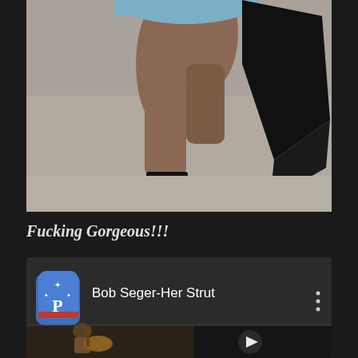[Figure (photo): Close-up photo of a woman's legs from the knees down, wearing a light blue ruched dress and black strappy high heels, walking on a gray pavement surface, holding a black fringed scarf or shawl in her right hand.]
Fucking Gorgeous!!!
[Figure (screenshot): YouTube video thumbnail/listing for 'Bob Seger-Her Strut' with a blue Philadelphia Phillies-style app icon on the left, the video title in white text in the center, a three-dot menu icon on the right, and a partial video thumbnail showing someone playing guitar and another figure.]